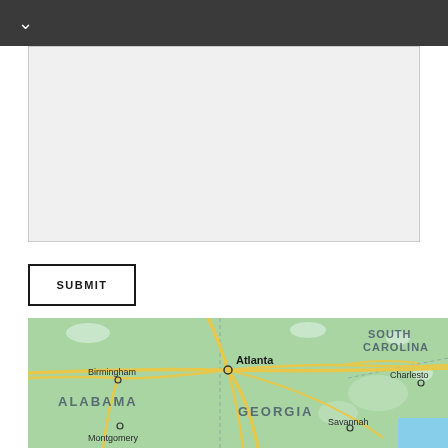[Figure (other): Empty text input area / textarea form field with light gray background]
SUBMIT
[Figure (map): Google Maps style map showing southeastern United States including Atlanta, Birmingham, Montgomery, Savannah, Charleston, and state labels for Alabama, Georgia, and South Carolina]